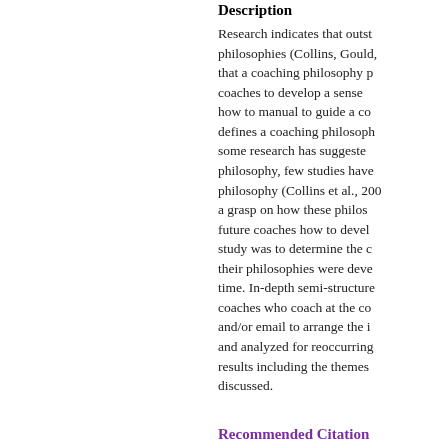Description
Research indicates that outstanding coaches have distinct philosophies (Collins, Gould, that a coaching philosophy p coaches to develop a sense how to manual to guide a co defines a coaching philosoph some research has suggeste philosophy, few studies have philosophy (Collins et al., 200 a grasp on how these philos future coaches how to devel study was to determine the c their philosophies were deve time. In-depth semi-structure coaches who coach at the co and/or email to arrange the i and analyzed for reoccurring results including the themes discussed.
Recommended Citation
Vroman, Tony. "The Develo Philosophies," Undergradu